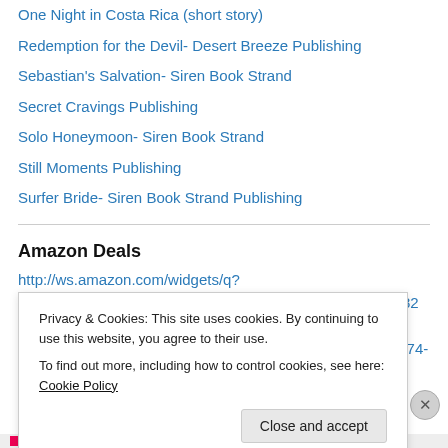One Night in Costa Rica (short story)
Redemption for the Devil- Desert Breeze Publishing
Sebastian's Salvation- Siren Book Strand
Secret Cravings Publishing
Solo Honeymoon- Siren Book Strand
Still Moments Publishing
Surfer Bride- Siren Book Strand Publishing
Amazon Deals
http://ws.amazon.com/widgets/q?ServiceVersion=20070822&MarketPlace=US&ID=V20070822%2FUS%2Fwwwjilliancha-20%2F8009%2Fe28d2758-1dac-44b9-9574-
Privacy & Cookies: This site uses cookies. By continuing to use this website, you agree to their use.
To find out more, including how to control cookies, see here: Cookie Policy